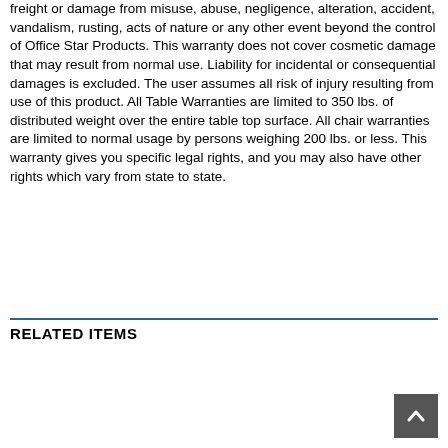freight or damage from misuse, abuse, negligence, alteration, accident, vandalism, rusting, acts of nature or any other event beyond the control of Office Star Products. This warranty does not cover cosmetic damage that may result from normal use. Liability for incidental or consequential damages is excluded. The user assumes all risk of injury resulting from use of this product. All Table Warranties are limited to 350 lbs. of distributed weight over the entire table top surface. All chair warranties are limited to normal usage by persons weighing 200 lbs. or less. This warranty gives you specific legal rights, and you may also have other rights which vary from state to state.
RELATED ITEMS